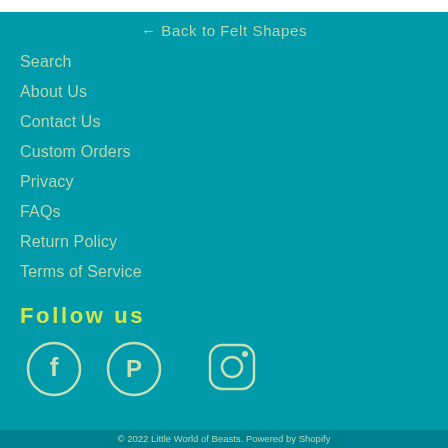← Back to Felt Shapes
Search
About Us
Contact Us
Custom Orders
Privacy
FAQs
Return Policy
Terms of Service
Follow us
[Figure (illustration): Social media icons: Facebook, Pinterest, Instagram]
© 2022 Little World of Beasts. Powered by Shopify